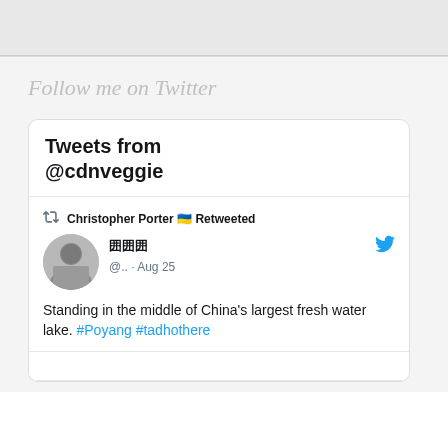Follow me on Twitter
[Figure (screenshot): Embedded Twitter widget showing tweets from @cdnveggie. Contains a retweet by Christopher Porter with Ukrainian flag emoji, retweeting a tweet by a user with Chinese characters in their name (@.. · Aug 25) saying 'Standing in the middle of China's largest fresh water lake. #Poyang #tadhothere']